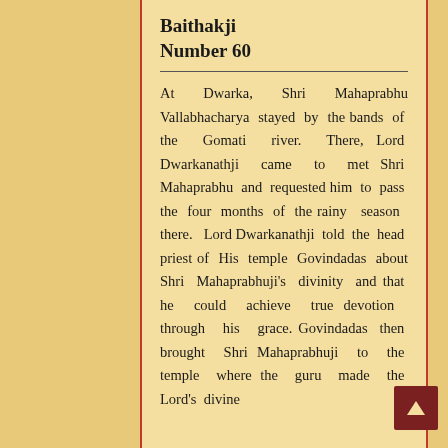Baithakji
Number 60
At Dwarka, Shri Mahaprabhu Vallabhacharya stayed by the bands of the Gomati river. There, Lord Dwarkanathji came to met Shri Mahaprabhu and requested him to pass the four months of the rainy season there. Lord Dwarkanathji told the head priest of His temple Govindadas about Shri Mahaprabhuji's divinity and that he could achieve true devotion through his grace. Govindadas then brought Shri Mahaprabhuji to the temple where the guru made the Lord's divine